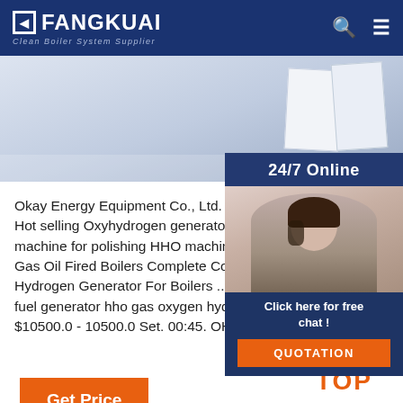FANGKUAI Clean Boiler System Supplier
[Figure (photo): Hero banner image showing light-colored industrial/office background with white rectangular blocks on a blue-grey gradient surface]
[Figure (photo): 24/7 Online chat widget showing a female customer service agent wearing a headset, with a dark blue semi-transparent overlay, 'Click here for free chat!' text, and an orange QUOTATION button]
Okay Energy Equipment Co., Ltd. - default - Alibi Hot selling Oxyhydrogen generator for welding machine for polishing HHO machine for sealing Gas Oil Fired Boilers Complete Combustion Sup Hydrogen Generator For Boilers ... 00:42. OH550 fuel generator hho gas oxygen hydrogen flame $10500.0 - 10500.0 Set. 00:45. OH3000 ...
[Figure (other): Orange 'Get Price' button]
[Figure (other): Orange TOP badge with dots arranged in a triangle above the word TOP]